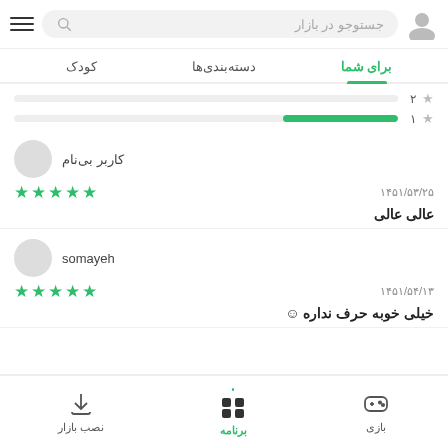جستوجو در بازار
برای شما | دسته‌بندی‌ها | کودک
[Figure (infographic): Rating bars showing 2 stars and 1 star with green fill bar on 1-star row]
کاربر بی‌نام — 5 stars — ۱۴۵۱/۵۳/۲۵ — عالی عالی
somayeh — 4 stars — ۱۴۵۱/۵۴/۱۳ — خیلی خوبه حرف نداره ☺
بازی | برنامه | نصب بازار